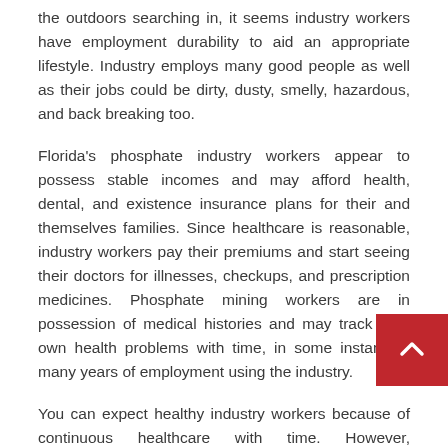the outdoors searching in, it seems industry workers have employment durability to aid an appropriate lifestyle. Industry employs many good people as well as their jobs could be dirty, dusty, smelly, hazardous, and back breaking too.
Florida's phosphate industry workers appear to possess stable incomes and may afford health, dental, and existence insurance plans for their and themselves families. Since healthcare is reasonable, industry workers pay their premiums and start seeing their doctors for illnesses, checkups, and prescription medicines. Phosphate mining workers are in possession of medical histories and may track their own health problems with time, in some instances, many years of employment using the industry.
You can expect healthy industry workers because of continuous healthcare with time. However, statistically,